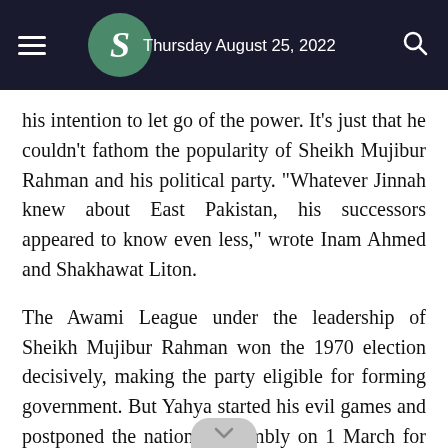Thursday August 25, 2022
his intention to let go of the power. It's just that he couldn't fathom the popularity of Sheikh Mujibur Rahman and his political party. "Whatever Jinnah knew about East Pakistan, his successors appeared to know even less," wrote Inam Ahmed and Shakhawat Liton.
The Awami League under the leadership of Sheikh Mujibur Rahman won the 1970 election decisively, making the party eligible for forming government. But Yahya started his evil games and postponed the national assembly on 1 March for an indefinite period.